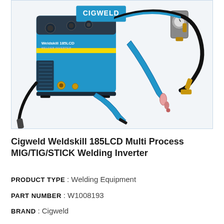[Figure (photo): Photo of Cigweld Weldskill 185LCD Multi Process MIG/TIG/STICK Welding Inverter — a blue and black welding machine with MIG gun, TIG torch, hoses, and regulator, on a white background]
Cigweld Weldskill 185LCD Multi Process MIG/TIG/STICK Welding Inverter
PRODUCT TYPE : Welding Equipment
PART NUMBER : W1008193
BRAND : Cigweld